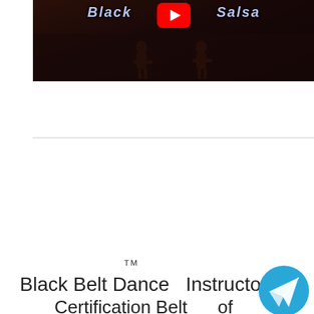[Figure (screenshot): YouTube video thumbnail showing 'Black Belt Salsa' branding with dance figures silhouette and YouTube play button on dark background]
™
Black Belt Dance   Instructor Certification Belt     of